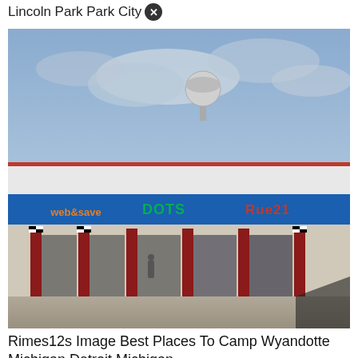Lincoln Park Park City ✕
[Figure (photo): Photograph of a strip mall shopping center featuring stores including DOTS and Rue21, with red columns, checkerboard flag decorations, and a water tower visible in the background against a cloudy sky]
Rimes12s Image Best Places To Camp Wyandotte Michigan Detroit Michigan
[Figure (photo): Partial view of another strip mall or retail location, partially cropped, with a close-up icon overlay]